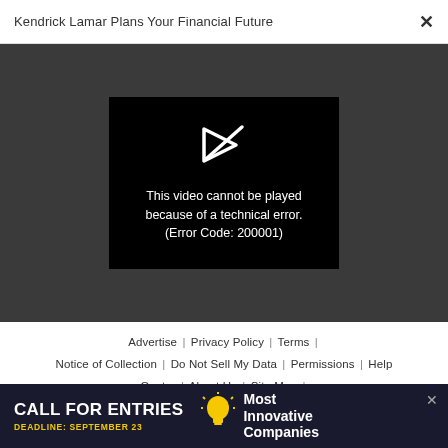Kendrick Lamar Plans Your Financial Future
[Figure (screenshot): Video player showing error: This video cannot be played because of a technical error. (Error Code: 200001)]
Advertise | Privacy Policy | Terms | Notice of Collection | Do Not Sell My Data | Permissions | Help Center | About Us | Site Map | Fast Company & Inc © 2022 Mansueto Ventures, LLC
[Figure (photo): Advertisement banner: CALL FOR ENTRIES DEADLINE: SEPTEMBER 23 Most Innovative Companies]